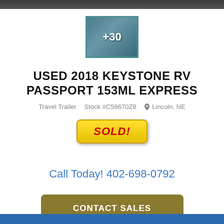[Figure (photo): Thumbnail image with +30 overlay indicating 30 more photos of the RV interior, with teal/blue border]
USED 2018 KEYSTONE RV PASSPORT 153ML EXPRESS
Travel Trailer   Stock #C59670Z8   Lincoln, NE
[Figure (other): Yellow SOLD! badge button with red bold italic text]
Call Today! 402-698-0792
CONTACT SALES